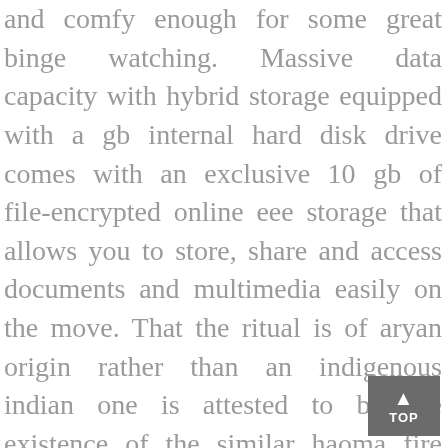and comfy enough for some great binge watching. Massive data capacity with hybrid storage equipped with a gb internal hard disk drive comes with an exclusive 10 gb of file-encrypted online eee storage that allows you to store, share and access documents and multimedia easily on the move. That the ritual is of aryan origin rather than an indigenous indian one is attested to by the existence of the similar haoma fire ritual in ancient persia and in the zoroastrian parsi religion. The data relating to real estate for sale on this website comes in part from the internet data exchange program and the south east florida regional mls and is provided here for consumers' personal, non-commercial use. The solids discharged from the pre-leach step are then further leached in an autoclave at elevated